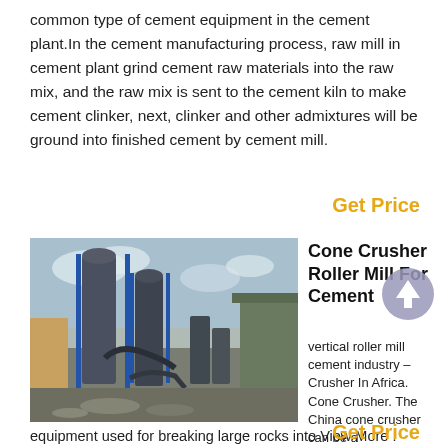common type of cement equipment in the cement plant.In the cement manufacturing process, raw mill in cement plant grind cement raw materials into the raw mix, and the raw mix is sent to the cement kiln to make cement clinker, next, clinker and other admixtures will be ground into finished cement by cement mill.
Get Price
[Figure (photo): Industrial cement plant with large vertical silos, blue steel structures, pipes and conveyor systems against a cloudy sky.]
Cone Crusher Roller Mill For Cement
vertical roller mill cement industry – Crusher In Africa. Cone Crusher. The China cone crusher can be a equipment used for breaking large rocks into View More . vertical roller mill cement
Get Price